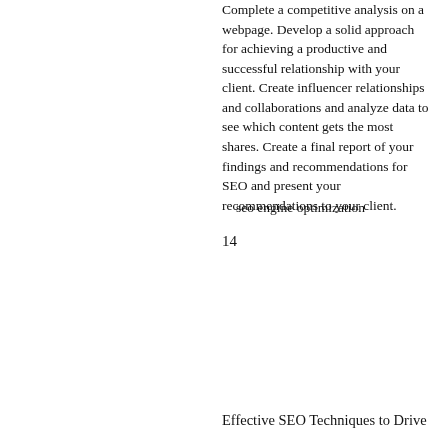Complete a competitive analysis on a webpage. Develop a solid approach for achieving a productive and successful relationship with your client. Create influencer relationships and collaborations and analyze data to see which content gets the most shares. Create a final report of your findings and recommendations for SEO and present your recommendations to your client.
seo engine optimization
14
[Figure (screenshot): Screenshot of a Single Grain webpage showing the article '10 Effective SEO Techniques to Drive Organic Traffic in 2021' with a gray hero image area at the top and article title and breadcrumb below.]
Effective SEO Techniques to Drive